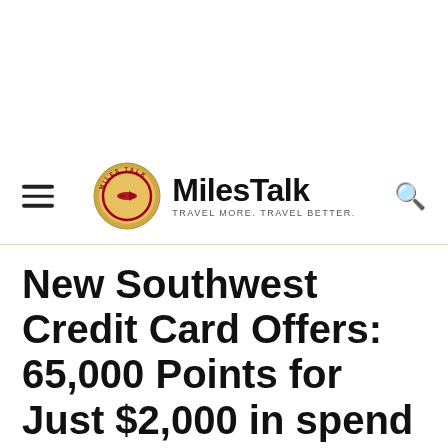MilesTalk — TRAVEL MORE. TRAVEL BETTER.
New Southwest Credit Card Offers: 65,000 Points for Just $2,000 in spend
By Dave Grossman - May 27, 2021